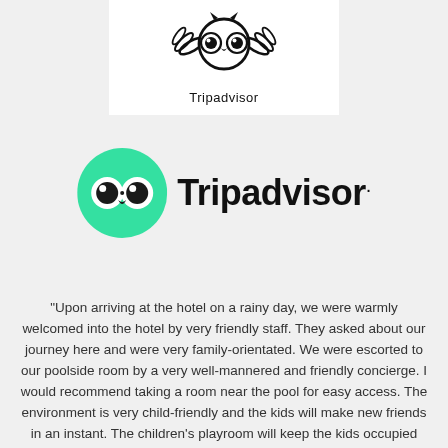[Figure (logo): Tripadvisor black and white logo with owl icon and 'Tripadvisor' text below, on white background]
[Figure (logo): Tripadvisor color logo with green circle owl icon and bold 'Tripadvisor.' text]
"Upon arriving at the hotel on a rainy day, we were warmly welcomed into the hotel by very friendly staff. They asked about our journey here and were very family-orientated. We were escorted to our poolside room by a very well-mannered and friendly concierge. I would recommend taking a room near the pool for easy access. The environment is very child-friendly and the kids will make new friends in an instant. The children's playroom will keep the kids occupied whilst you relax."